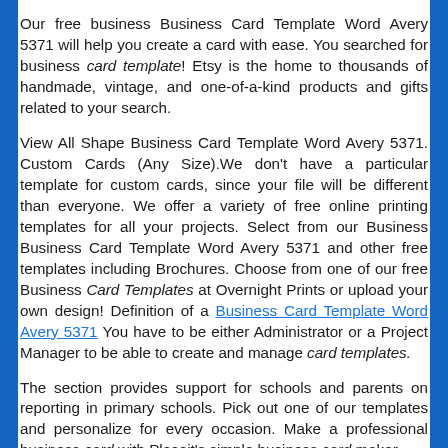Our free business Business Card Template Word Avery 5371 will help you create a card with ease. You searched for business card template! Etsy is the home to thousands of handmade, vintage, and one-of-a-kind products and gifts related to your search.
View All Shape Business Card Template Word Avery 5371. Custom Cards (Any Size).We don't have a particular template for custom cards, since your file will be different than everyone. We offer a variety of free online printing templates for all your projects. Select from our Business Business Card Template Word Avery 5371 and other free templates including Brochures. Choose from one of our free Business Card Templates at Overnight Prints or upload your own design! Definition of a Business Card Template Word Avery 5371 You have to be either Administrator or a Project Manager to be able to create and manage card templates.
The section provides support for schools and parents on reporting in primary schools. Pick out one of our templates and personalize for every occasion. Make a professional business card with Placeit's simple business card maker.